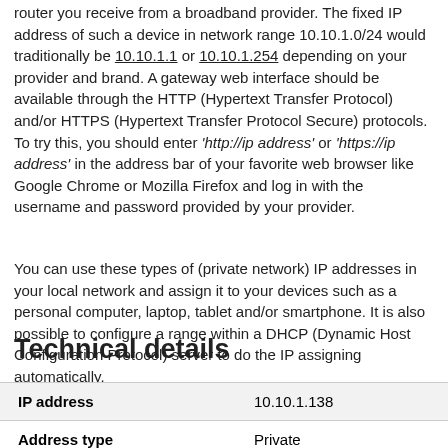router you receive from a broadband provider. The fixed IP address of such a device in network range 10.10.1.0/24 would traditionally be 10.10.1.1 or 10.10.1.254 depending on your provider and brand. A gateway web interface should be available through the HTTP (Hypertext Transfer Protocol) and/or HTTPS (Hypertext Transfer Protocol Secure) protocols. To try this, you should enter 'http://ip address' or 'https://ip address' in the address bar of your favorite web browser like Google Chrome or Mozilla Firefox and log in with the username and password provided by your provider.
You can use these types of (private network) IP addresses in your local network and assign it to your devices such as a personal computer, laptop, tablet and/or smartphone. It is also possible to configure a range within a DHCP (Dynamic Host Configuration Protocol) server to do the IP assigning automatically.
Technical details
|  |  |
| --- | --- |
| IP address | 10.10.1.138 |
| Address type | Private |
| Protocol version | IPv4 |